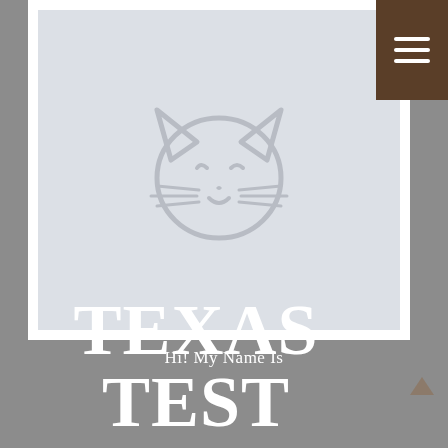[Figure (illustration): Placeholder image with a cat face icon (happy cat emoji) centered on a light gray background, inside a white card frame.]
Hi! My Name Is
TEXAS TEST